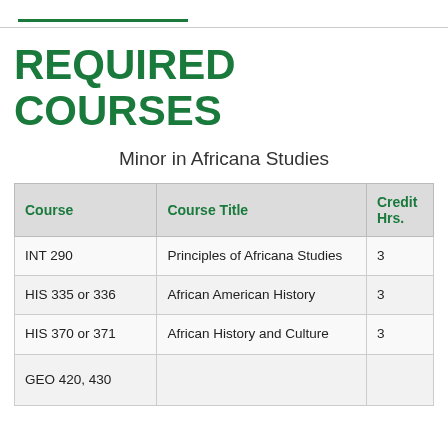REQUIRED COURSES
Minor in Africana Studies
| Course | Course Title | Credit Hrs. |
| --- | --- | --- |
| INT 290 | Principles of Africana Studies | 3 |
| HIS 335 or 336 | African American History | 3 |
| HIS 370 or 371 | African History and Culture | 3 |
| GEO 420, 430 |  |  |